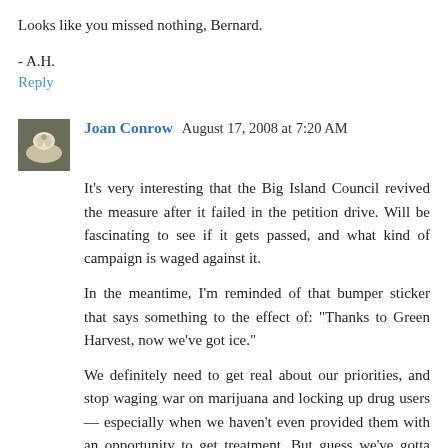Looks like you missed nothing, Bernard.
- A.H.
Reply
Joan Conrow August 17, 2008 at 7:20 AM
It's very interesting that the Big Island Council revived the measure after it failed in the petition drive. Will be fascinating to see if it gets passed, and what kind of campaign is waged against it.
In the meantime, I'm reminded of that bumper sticker that says something to the effect of: "Thanks to Green Harvest, now we've got ice."
We definitely need to get real about our priorities, and stop waging war on marijuana and locking up drug users — especially when we haven't even provided them with an opportunity to get treatment. But guess we've gotta keep feeding that giant prison complex we've created, even if it